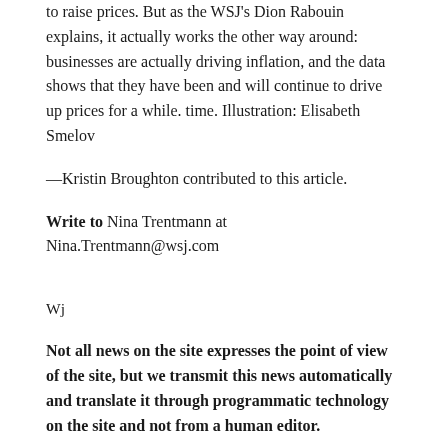to raise prices. But as the WSJ's Dion Rabouin explains, it actually works the other way around: businesses are actually driving inflation, and the data shows that they have been and will continue to drive up prices for a while. time. Illustration: Elisabeth Smelov
—Kristin Broughton contributed to this article.
Write to Nina Trentmann at Nina.Trentmann@wsj.com
Wj
Not all news on the site expresses the point of view of the site, but we transmit this news automatically and translate it through programmatic technology on the site and not from a human editor.